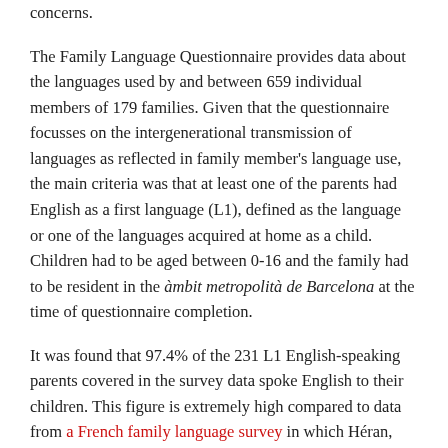concerns.
The Family Language Questionnaire provides data about the languages used by and between 659 individual members of 179 families. Given that the questionnaire focusses on the intergenerational transmission of languages as reflected in family member's language use, the main criteria was that at least one of the parents had English as a first language (L1), defined as the language or one of the languages acquired at home as a child. Children had to be aged between 0-16 and the family had to be resident in the àmbit metropolità de Barcelona at the time of questionnaire completion.
It was found that 97.4% of the 231 L1 English-speaking parents covered in the survey data spoke English to their children. This figure is extremely high compared to data from a French family language survey in which Héran, Filhon and Deprez (2002) found that 85% of L1 English-speaking parents in their sample spoke English to their children, a percentage that was only equalled by Turkish and towered above the overall average of 35% amongst